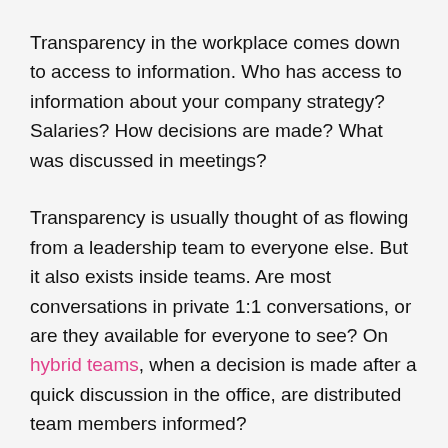Transparency in the workplace comes down to access to information. Who has access to information about your company strategy? Salaries? How decisions are made? What was discussed in meetings?
Transparency is usually thought of as flowing from a leadership team to everyone else. But it also exists inside teams. Are most conversations in private 1:1 conversations, or are they available for everyone to see? On hybrid teams, when a decision is made after a quick discussion in the office, are distributed team members informed?